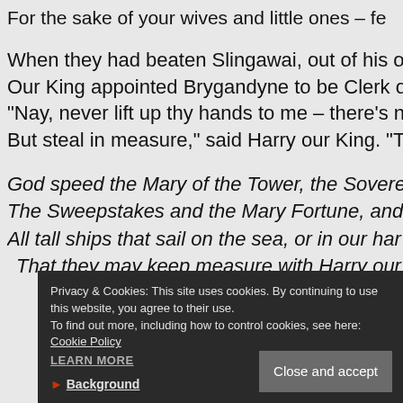For the sake of your wives and little ones – fe
When they had beaten Slingawai, out of his o
Our King appointed Brygandyne to be Clerk o
"Nay, never lift up thy hands to me – there's n
But steal in measure," said Harry our King. "T
God speed the Mary of the Tower, the Sovere
The Sweepstakes and the Mary Fortune, and
All tall ships that sail on the sea, or in our har
 That they may keep measure with Harry our
Privacy & Cookies: This site uses cookies. By continuing to use this website, you agree to their use.
To find out more, including how to control cookies, see here:
Cookie Policy
LEARN MORE
Close and accept
► Background